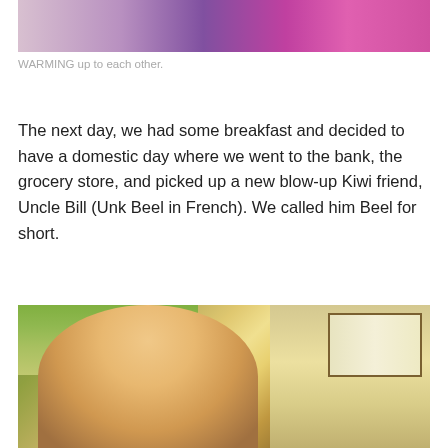[Figure (photo): Top portion of a photo showing people close together, with purple/magenta clothing visible]
WARMING up to each other.
The next day, we had some breakfast and decided to have a domestic day where we went to the bank, the grocery store, and picked up a new blow-up Kiwi friend, Uncle Bill (Unk Beel in French). We called him Beel for short.
[Figure (photo): A smiling woman waving from inside a vehicle, with outdoor scenery visible through windows]